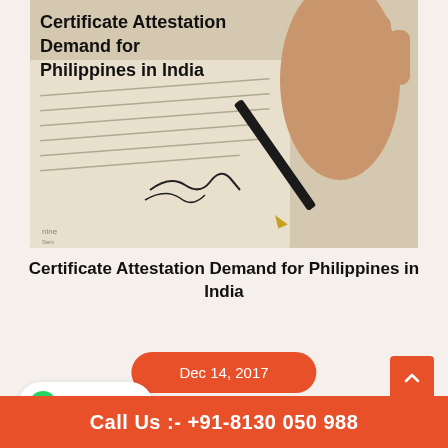[Figure (photo): A hand holding a fountain pen signing a document with Lorem Ipsum placeholder text visible. The image has bold text overlay reading 'Certificate Attestation Demand for Philippines in India'.]
Certificate Attestation Demand for Philippines in India
Dec 14, 2017
Call Us :- +91-8130 050 988